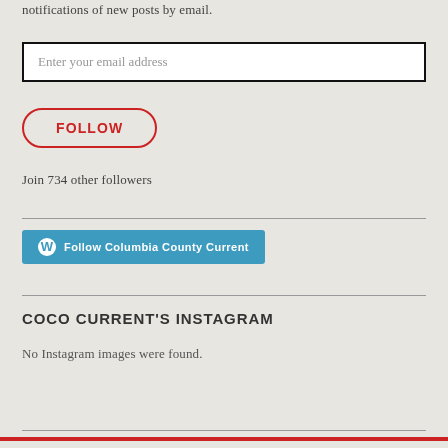notifications of new posts by email.
[Figure (screenshot): Email input field with placeholder text 'Enter your email address']
[Figure (screenshot): FOLLOW button with red rounded border]
Join 734 other followers
[Figure (screenshot): WordPress Follow button: 'Follow Columbia County Current']
COCO CURRENT'S INSTAGRAM
No Instagram images were found.